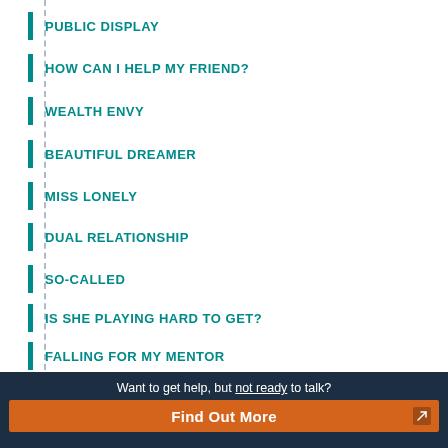PUBLIC DISPLAY
HOW CAN I HELP MY FRIEND?
WEALTH ENVY
BEAUTIFUL DREAMER
MISS LONELY
DUAL RELATIONSHIP
SO-CALLED
IS SHE PLAYING HARD TO GET?
FALLING FOR MY MENTOR
TEACHER'S PET?
Want to get help, but not ready to talk? Find Out More